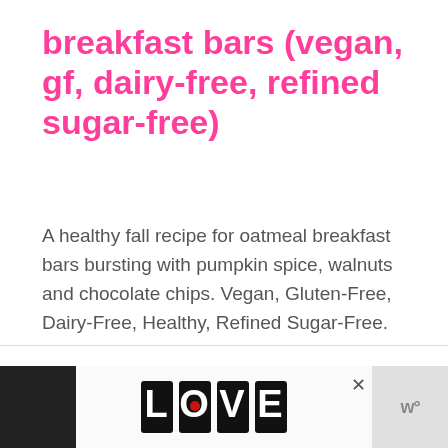breakfast bars (vegan, gf, dairy-free, refined sugar-free)
A healthy fall recipe for oatmeal breakfast bars bursting with pumpkin spice, walnuts and chocolate chips. Vegan, Gluten-Free, Dairy-Free, Healthy, Refined Sugar-Free.
[Figure (other): Advertisement banner at bottom of page showing decorative LOVE text logo in black and white zentangle art style, with close button (X) and a grey logo on the right]